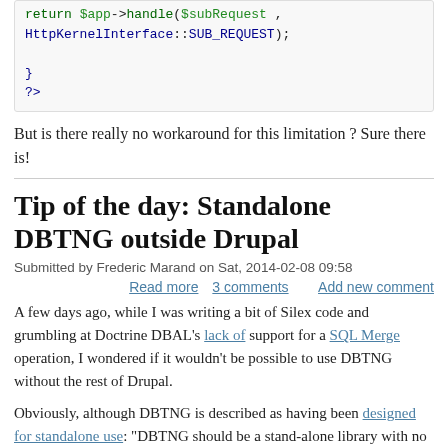[Figure (screenshot): Code block showing PHP return statement with $app->handle($subRequest, HttpKernelInterface::SUB_REQUEST); followed by closing brace and ?> tag]
But is there really no workaround for this limitation ? Sure there is!
Tip of the day: Standalone DBTNG outside Drupal
Submitted by Frederic Marand on Sat, 2014-02-08 09:58
Read more   3 comments   Add new comment
A few days ago, while I was writing a bit of Silex code and grumbling at Doctrine DBAL's lack of support for a SQL Merge operation, I wondered if it wouldn't be possible to use DBTNG without the rest of Drupal.
Obviously, although DBTNG is described as having been designed for standalone use: “DBTNG should be a stand-alone library with no external dependences other than PHP 5.2 and the PDO database library”, in actual use, the Github DBTNG repo has seen no commit in the last 3 years, and